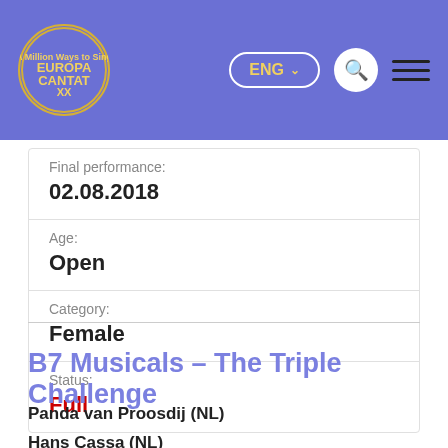EUROPA CANTAT XX — ENG — navigation
Final performance:
02.08.2018
Age:
Open
Category:
Female
Status:
Full
B7 Musicals – The Triple Challenge
Panda van Proosdij (NL)
Hans Cassa (NL)